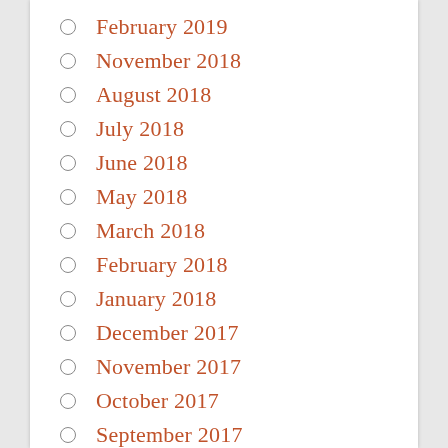February 2019
November 2018
August 2018
July 2018
June 2018
May 2018
March 2018
February 2018
January 2018
December 2017
November 2017
October 2017
September 2017
August 2017
July 2017